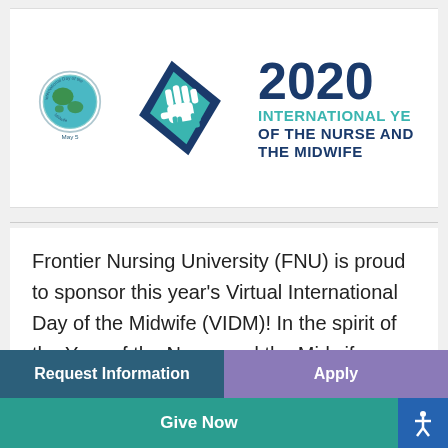[Figure (logo): International Day of the Midwife globe logo and 2020 International Year of the Nurse and the Midwife heart-hands logo with text '2020 INTERNATIONAL YEAR OF THE NURSE AND THE MIDWIFE']
Frontier Nursing University (FNU) is proud to sponsor this year's Virtual International Day of the Midwife (VIDM)! In the spirit of the Year of the Nurse and the Midwife appointed by the
Request Information | Apply | Give Now